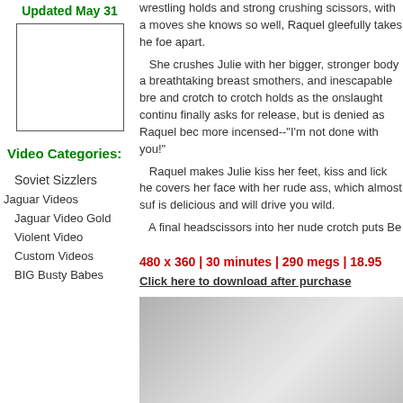Updated May 31
[Figure (photo): Thumbnail image placeholder box (empty, bordered rectangle)]
Video Categories:
wrestling holds and strong crushing scissors, with a moves she knows so well, Raquel gleefully takes he foe apart.
   She crushes Julie with her bigger, stronger body a breathtaking breast smothers, and inescapable bre and crotch to crotch holds as the onslaught continu finally asks for release, but is denied as Raquel bec more incensed--"I'm not done with you!"
   Raquel makes Julie kiss her feet, kiss and lick he covers her face with her rude ass, which almost suf is delicious and will drive you wild.
   A final headscissors into her nude crotch puts Be
480 x 360 | 30 minutes | 290 megs | 18.95
Click here to download after purchase
Soviet Sizzlers
Jaguar Videos
Jaguar Video Gold
Violent Video
Custom Videos
BIG Busty Babes
[Figure (photo): Partial photo showing two people, cropped at bottom of page]